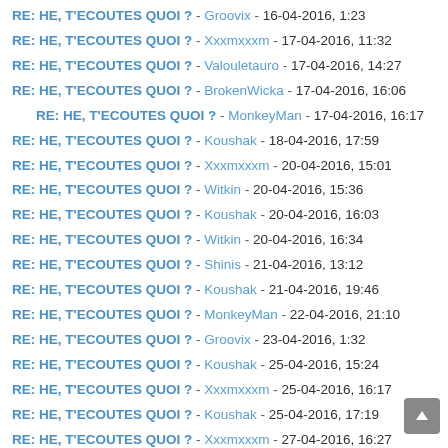RE: HE, T'ECOUTES QUOI ? - Groovix - 16-04-2016, 1:23
RE: HE, T'ECOUTES QUOI ? - Xxxmxxxm - 17-04-2016, 11:32
RE: HE, T'ECOUTES QUOI ? - Valouletauro - 17-04-2016, 14:27
RE: HE, T'ECOUTES QUOI ? - BrokenWicka - 17-04-2016, 16:06
RE: HE, T'ECOUTES QUOI ? - MonkeyMan - 17-04-2016, 16:17
RE: HE, T'ECOUTES QUOI ? - Koushak - 18-04-2016, 17:59
RE: HE, T'ECOUTES QUOI ? - Xxxmxxxm - 20-04-2016, 15:01
RE: HE, T'ECOUTES QUOI ? - Witkin - 20-04-2016, 15:36
RE: HE, T'ECOUTES QUOI ? - Koushak - 20-04-2016, 16:03
RE: HE, T'ECOUTES QUOI ? - Witkin - 20-04-2016, 16:34
RE: HE, T'ECOUTES QUOI ? - Shinis - 21-04-2016, 13:12
RE: HE, T'ECOUTES QUOI ? - Koushak - 21-04-2016, 19:46
RE: HE, T'ECOUTES QUOI ? - MonkeyMan - 22-04-2016, 21:10
RE: HE, T'ECOUTES QUOI ? - Groovix - 23-04-2016, 1:32
RE: HE, T'ECOUTES QUOI ? - Koushak - 25-04-2016, 15:24
RE: HE, T'ECOUTES QUOI ? - Xxxmxxxm - 25-04-2016, 16:17
RE: HE, T'ECOUTES QUOI ? - Koushak - 25-04-2016, 17:19
RE: HE, T'ECOUTES QUOI ? - Xxxmxxxm - 27-04-2016, 16:27
RE: HE, T'ECOUTES QUOI ? - Katsmoka - 27-04-2016, 17:59
RE: HE, T'ECOUTES QUOI ? - Koushak - 28-04-2016, 15:43
RE: HE, T'ECOUTES QUOI ? - Xxxmxxxm - 27-04-2016, 18:24
RE: HE, T'ECOUTES QUOI ? - Groovix - 30-04-2016, 1:26